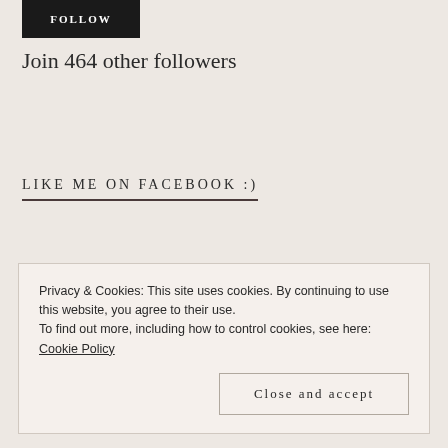[Figure (other): Black FOLLOW button]
Join 464 other followers
LIKE ME ON FACEBOOK :)
Privacy & Cookies: This site uses cookies. By continuing to use this website, you agree to their use.
To find out more, including how to control cookies, see here: Cookie Policy
Close and accept